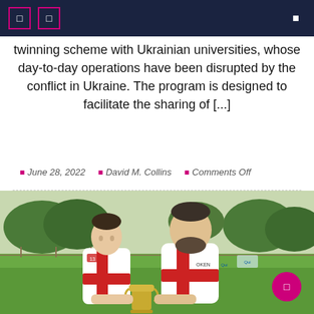Navigation bar with icons
twinning scheme with Ukrainian universities, whose day-to-day operations have been disrupted by the conflict in Ukraine. The program is designed to facilitate the sharing of [...]
June 28, 2022  David M. Collins  Comments Off
[Figure (photo): Two rugby players in white and red England rugby shirts holding a trophy, standing on a grass pitch with trees in the background.]